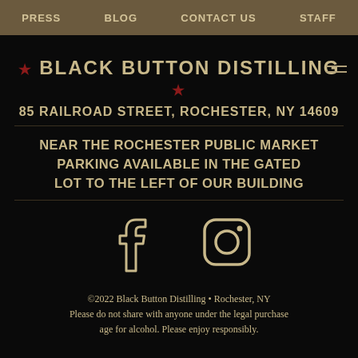PRESS  BLOG  CONTACT US  STAFF
★ BLACK BUTTON DISTILLING ★
85 RAILROAD STREET, ROCHESTER, NY 14609
NEAR THE ROCHESTER PUBLIC MARKET PARKING AVAILABLE IN THE GATED LOT TO THE LEFT OF OUR BUILDING
[Figure (logo): Facebook and Instagram social media icons in tan/gold outline style]
©2022 Black Button Distilling • Rochester, NY Please do not share with anyone under the legal purchase age for alcohol. Please enjoy responsibly.